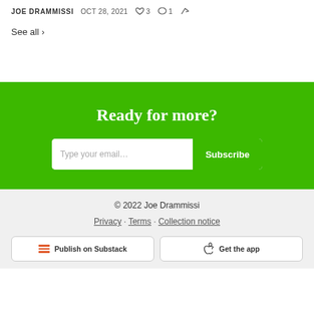JOE DRAMMISSI  OCT 28, 2021  ♡ 3  💬 1  ↗
See all ›
Ready for more?
Type your email…   Subscribe
© 2022 Joe Drammissi
Privacy · Terms · Collection notice
Publish on Substack   Get the app